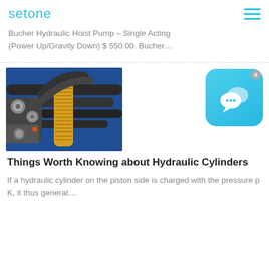setone
Bucher Hydraulic Hoist Pump – Single Acting (Power Up/Gravity Down) $ 550.00. Bucher…
[Figure (photo): Close-up photo of hydraulic hoses and fittings — metal connectors, black and yellow wrapped hoses attached to blue industrial equipment]
Things Worth Knowing about Hydraulic Cylinders
If a hydraulic cylinder on the piston side is charged with the pressure p K, it thus generat…